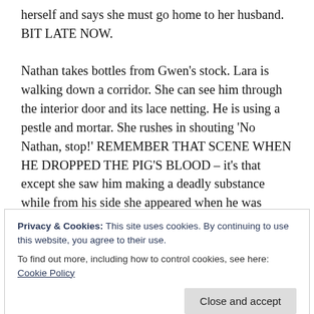herself and says she must go home to her husband. BIT LATE NOW.

Nathan takes bottles from Gwen's stock. Lara is walking down a corridor. She can see him through the interior door and its lace netting. He is using a pestle and mortar. She rushes in shouting 'No Nathan, stop!' REMEMBER THAT SCENE WHEN HE DROPPED THE PIG'S BLOOD – it's that except she saw him making a deadly substance while from his side she appeared when he was going to wash the bucket out. Obviously the rooms empty when she gets inside but Gabriel appears.
Privacy & Cookies: This site uses cookies. By continuing to use this website, you agree to their use.
To find out more, including how to control cookies, see here: Cookie Policy
Gabriel, the littlest grim reaper, declares they can